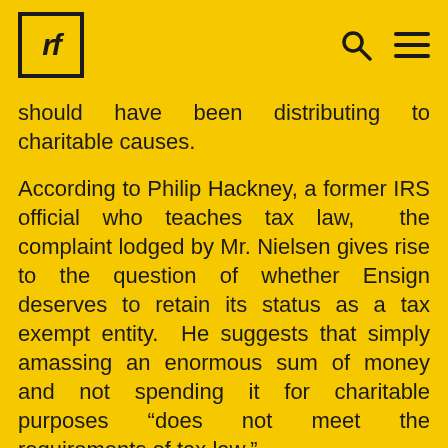rf
should have been distributing to charitable causes.
According to Philip Hackney, a former IRS official who teaches tax law,  the complaint lodged by Mr. Nielsen gives rise to the question of whether Ensign deserves to retain its status as a tax exempt entity.  He suggests that simply amassing an enormous sum of money and not spending it for charitable purposes “does not meet the requirements of tax law.”
Church officials have a different take on its accumulated wealth.   They say the billions it holds are for the “building of a prudent reserve for the future.” They say that practice: “is a sound doctrinal and financial principle taught by the Savior in the Parable of the Talents and